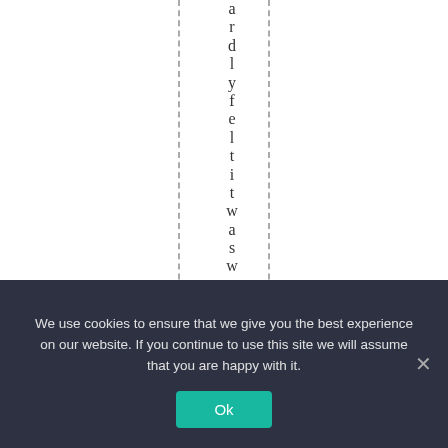ardlyfeltitwas worth
We use cookies to ensure that we give you the best experience on our website. If you continue to use this site we will assume that you are happy with it. Ok